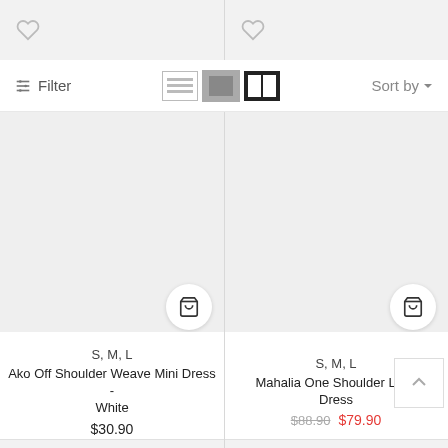[Figure (screenshot): Top bar with two wishlist heart icons, separated by a vertical divider, on a light gray background]
⊹ Filter
[Figure (infographic): View toggle icons: list view, medium grid, two-column grid (active/selected)]
Sort by ∨
[Figure (photo): Light gray placeholder image area for product 1 (Ako Off Shoulder Weave Mini Dress - White)]
S, M, L
Ako Off Shoulder Weave Mini Dress - White
$30.90
[Figure (photo): Light gray placeholder image area for product 2 (Mahalia One Shoulder Lace Dress)]
S, M, L
Mahalia One Shoulder Lace Dress
$88.90 $79.90